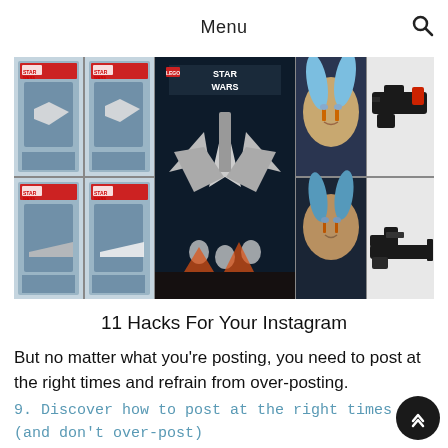Menu
[Figure (photo): Instagram photo grid showing LEGO Star Wars sets (four boxes in 2x2 grid on left), a large Star Wars X-Wing LEGO box in center, and Ahsoka Tano character portrait with LEGO blasters on right]
11 Hacks For Your Instagram
But no matter what you're posting, you need to post at the right times and refrain from over-posting.
9. Discover how to post at the right times (and don't over-post)